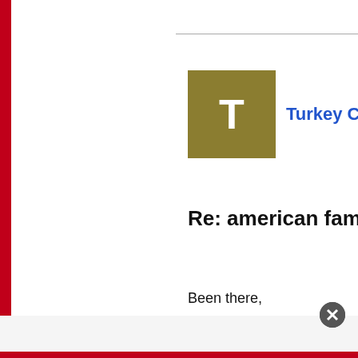[Figure (other): User avatar tile with letter T on olive/gold background]
Turkey Club with Lightly ...
Re: american family inseptio...
Been there,

Who do you think is behind these ins... really think that was GEICO's idea? A... I would think that it should be a licens... do not know the first thing about a wi... These claims are never stolen from m...